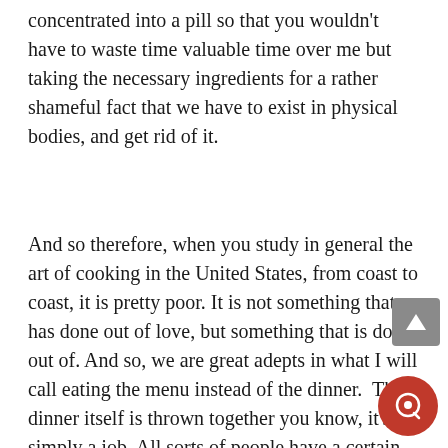concentrated into a pill so that you wouldn't have to waste time valuable time over me but taking the necessary ingredients for a rather shameful fact that we have to exist in physical bodies, and get rid of it.
And so therefore, when you study in general the art of cooking in the United States, from coast to coast, it is pretty poor. It is not something that has done out of love, but something that is done out of. And so, we are great adepts in what I will call eating the menu instead of the dinner.  The dinner itself is thrown together you know, it's simply a job. All sorts of people have a certain amount of professional training cook, not because they like cooking but because it's a job through